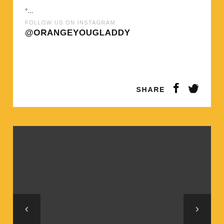°...
FOLLOW US ON INSTAGRAM
@ORANGEYOUGLADDY
SHARE
[Figure (screenshot): Dark gray carousel/slideshow panel with left arrow button (chevron <) on bottom-left and right arrow button (chevron >) on bottom-right]